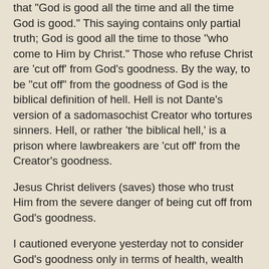that "God is good all the time and all the time God is good." This saying contains only partial truth; God is good all the time to those "who come to Him by Christ." Those who refuse Christ are 'cut off' from God's goodness. By the way, to be "cut off" from the goodness of God is the biblical definition of hell. Hell is not Dante's version of a sadomasochist Creator who tortures sinners. Hell, or rather 'the biblical hell,' is a prison where lawbreakers are 'cut off' from the Creator's goodness.
Jesus Christ delivers (saves) those who trust Him from the severe danger of being cut off from God's goodness.
I cautioned everyone yesterday not to consider God's goodness only in terms of health, wealth and other material or temporal blessings. These things are good and definitely comprise some of the blessings that come from God ('for it is God who gives you the power to have wealth'), but these things are not God's greatest blessings. A rich, healthy, powerful man can be 'cut off' from experiencing God's goodness spiritually, emotionally, and psychologically. The internal knowledge that God is good to you eternally is far